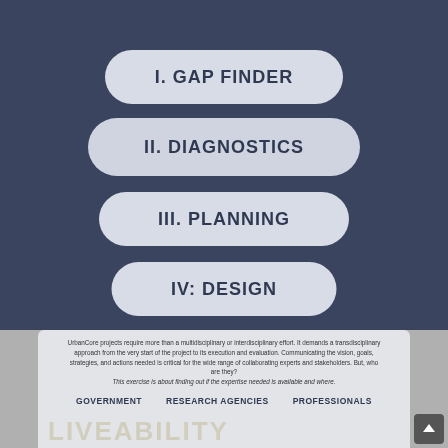I. GAP FINDER
II. DIAGNOSTICS
III. PLANNING
IV: DESIGN
UrbanCore projects require more than a multidisciplinary or interdisciplinary effort. It demands a transdisciplinary approach from the very start of the project to its execution and evaluation. Communicating the vision, goals, strategies, and actions needed is critical for the wide range of collaborating experts and stakeholders. But, who are they? This exercise is about finding out if the expertise needed is available and where.
GOVERNMENT   RESEARCH AGENCIES   PROFESSIONALS